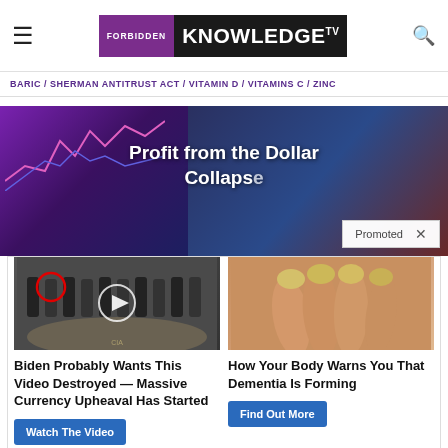FORBIDDEN KNOWLEDGE TV
BARIC / SHERMAN ANTITRUST ACT / VITAMIN D / VITAMINS C / ZINC
[Figure (other): Advertisement banner: 'Profit from the Dollar Collapse' with Promoted label and close button]
[Figure (photo): Group of men in suits standing in front of a CIA seal floor emblem; one man circled in red; video play button overlay]
[Figure (photo): Close-up photo of yellowed fingernails on a hand]
Biden Probably Wants This Video Destroyed — Massive Currency Upheaval Has Started
Watch The Video
How Your Body Warns You That Dementia Is Forming
Find Out More